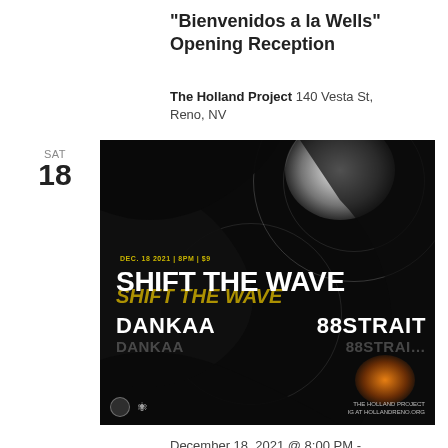“Bienvenidos a la Wells” Opening Reception
The Holland Project 140 Vesta St, Reno, NV
SAT
18
[Figure (photo): Event poster for Shift The Wave concert at The Holland Project on Dec. 18 2021, 8PM, $9. Features DANKAA and 88STRAIT. Dark background with white blob light and orange glow effects.]
December 18, 2021 @ 8:00 PM - 11:00 PM